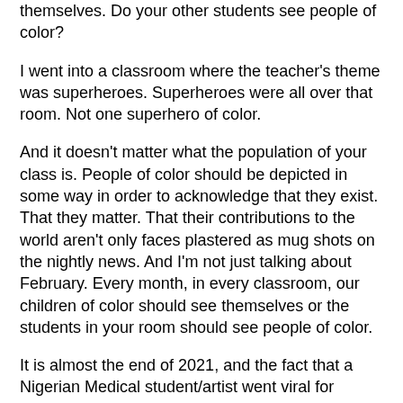themselves. Do your other students see people of color?
I went into a classroom where the teacher's theme was superheroes. Superheroes were all over that room. Not one superhero of color.
And it doesn't matter what the population of your class is. People of color should be depicted in some way in order to acknowledge that they exist. That they matter. That their contributions to the world aren't only faces plastered as mug shots on the nightly news. And I'm not just talking about February. Every month, in every classroom, our children of color should see themselves or the students in your room should see people of color.
It is almost the end of 2021, and the fact that a Nigerian Medical student/artist went viral for drawing an illustration of a black baby in a womb is appalling. A black baby in a womb! He went viral. Why? People of color are not represented in textbooks and diagrams, and for many, this was the first time they had seen a black person in a medical illustration.
You might say, "It doesn't matter" or "What difference does it